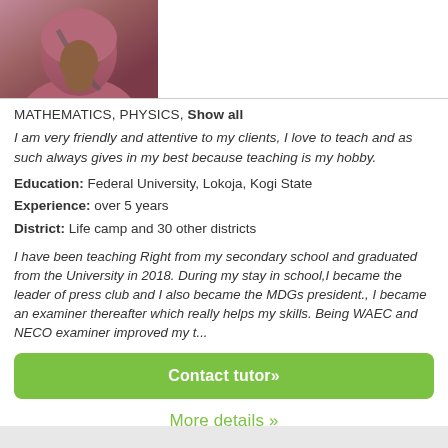[Figure (photo): Profile photo of a woman wearing a mauve/pink hijab, cropped at the top-left of the card.]
MATHEMATICS, PHYSICS, Show all
I am very friendly and attentive to my clients, I love to teach and as such always gives in my best because teaching is my hobby.
Education: Federal University, Lokoja, Kogi State
Experience: over 5 years
District: Life camp and 30 other districts
I have been teaching Right from my secondary school and graduated from the University in 2018. During my stay in school,I became the leader of press club and I also became the MDGs president., I became an examiner thereafter which really helps my skills. Being WAEC and NECO examiner improved my t...
Contact tutor»
More details »